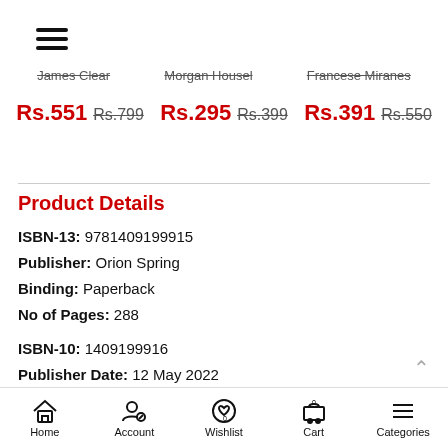[Figure (other): Hamburger menu icon (three horizontal lines)]
James Clear   Morgan Housel   Francese Miranes
Rs.551 Rs.799   Rs.295 Rs.399   Rs.391 Rs.550
Product Details
ISBN-13: 9781409199915
Publisher: Orion Spring
Binding: Paperback
No of Pages: 288
ISBN-10: 1409199916
Publisher Date: 12 May 2022
Language: English
Home   Account   Wishlist   Cart   Categories